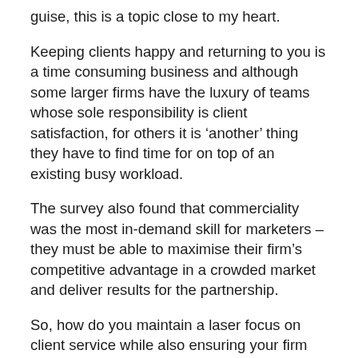guise, this is a topic close to my heart.
Keeping clients happy and returning to you is a time consuming business and although some larger firms have the luxury of teams whose sole responsibility is client satisfaction, for others it is ‘another’ thing they have to find time for on top of an existing busy workload.
The survey also found that commerciality was the most in-demand skill for marketers – they must be able to maximise their firm’s competitive advantage in a crowded market and deliver results for the partnership.
So, how do you maintain a laser focus on client service while also ensuring your firm stays ahead of its competitors and bringing in new business? The answer, we believe, is outsourcing new